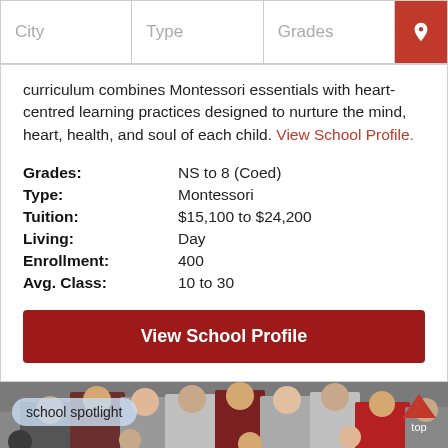City | Type | Grades
curriculum combines Montessori essentials with heart-centred learning practices designed to nurture the mind, heart, health, and soul of each child. View School Profile.
Grades: NS to 8 (Coed)
Type: Montessori
Tuition: $15,100 to $24,200
Living: Day
Enrollment: 400
Avg. Class: 10 to 30
View School Profile
[Figure (photo): Group photo of student athletes in red and grey uniforms holding medals, with 'school spotlight' label and 'top' navigation arrow]